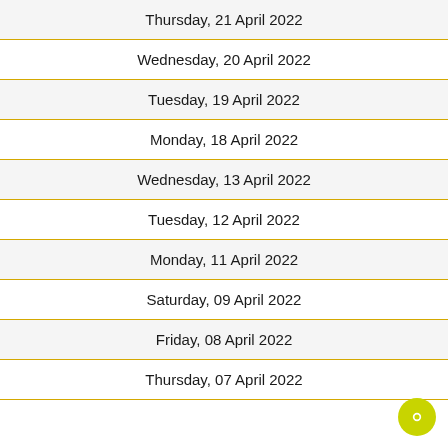Thursday, 21 April 2022
Wednesday, 20 April 2022
Tuesday, 19 April 2022
Monday, 18 April 2022
Wednesday, 13 April 2022
Tuesday, 12 April 2022
Monday, 11 April 2022
Saturday, 09 April 2022
Friday, 08 April 2022
Thursday, 07 April 2022